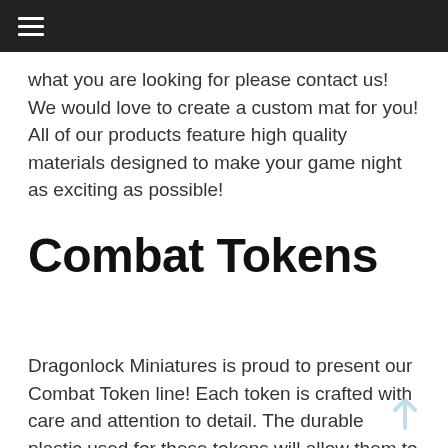≡ (navigation menu)
what you are looking for please contact us! We would love to create a custom mat for you! All of our products feature high quality materials designed to make your game night as exciting as possible!
Combat Tokens
Dragonlock Miniatures is proud to present our Combat Token line! Each token is crafted with care and attention to detail. The durable plastic used for these tokens will allow them to be used on any battlemat without fear of movement or sliding. We've included images that are 360×480 px, so you